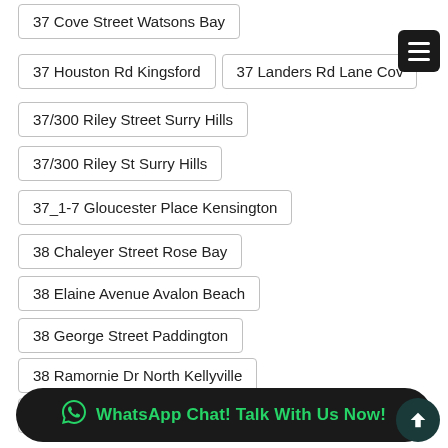37 Cove Street Watsons Bay
37 Houston Rd Kingsford
37 Landers Rd Lane Cove
37/300 Riley Street Surry Hills
37/300 Riley St Surry Hills
37_1-7 Gloucester Place Kensington
38 Chaleyer Street Rose Bay
38 Elaine Avenue Avalon Beach
38 George Street Paddington
38 Ramornie Dr North Kellyville
38 Simpson Street Bondi Beach
38 West Crescent Hurstville Grove
38
38/10 Barncleuth Square Elizabeth Bay